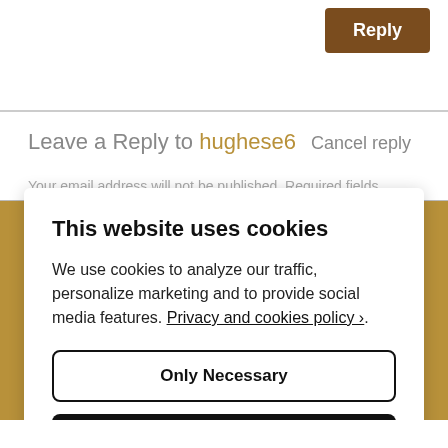Reply
Leave a Reply to hughese6 Cancel reply
This website uses cookies
We use cookies to analyze our traffic, personalize marketing and to provide social media features. Privacy and cookies policy ›.
Only Necessary
Allow All Cookies
Configure Settings ›